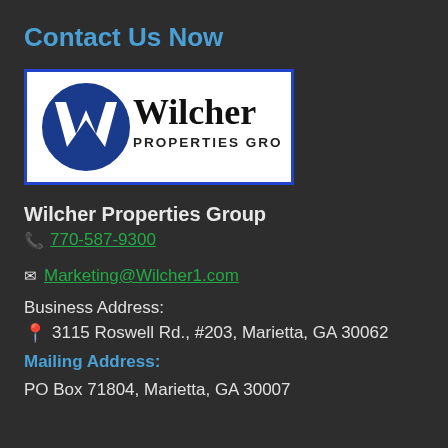Contact Us Now
[Figure (logo): Wilcher Properties Group logo — blue circular W emblem with company name in black serif/sans text on white background, framed by blue border]
Wilcher Properties Group
📞 770-587-9300
✉ Marketing@Wilcher1.com
Business Address:
📍 3115 Roswell Rd., #203, Marietta, GA 30062
Mailing Address:
PO Box 71804, Marietta, GA 30007